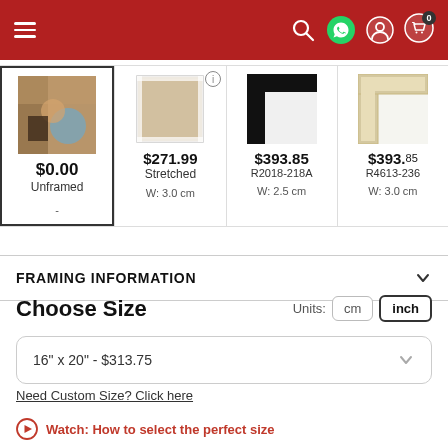Navigation header with menu, search, WhatsApp, user, and cart icons
[Figure (screenshot): Four framing option thumbnails: Unframed ($0.00), Stretched ($271.99), R2018-218A ($393.85, W:2.5cm), R4613-236 ($393.85, W:3.0cm)]
FRAMING INFORMATION
Choose Size
Units: cm  inch
16" x 20" - $313.75
Need Custom Size? Click here
Watch: How to select the perfect size